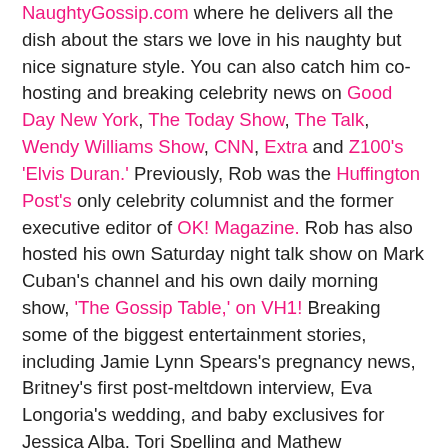NaughtyGossip.com where he delivers all the dish about the stars we love in his naughty but nice signature style. You can also catch him co-hosting and breaking celebrity news on Good Day New York, The Today Show, The Talk, Wendy Williams Show, CNN, Extra and Z100's 'Elvis Duran.' Previously, Rob was the Huffington Post's only celebrity columnist and the former executive editor of OK! Magazine. Rob has also hosted his own Saturday night talk show on Mark Cuban's channel and his own daily morning show, 'The Gossip Table,' on VH1! Breaking some of the biggest entertainment stories, including Jamie Lynn Spears's pregnancy news, Britney's first post-meltdown interview, Eva Longoria's wedding, and baby exclusives for Jessica Alba, Tori Spelling and Mathew McConaughey's tots, Rob always knows where to find the best scoop. Before Rob was one of the world's most successful entertainment reporters, he was a publicist working for Jennifer Lopez, Alicia Keys, P. Diddy, Jessica